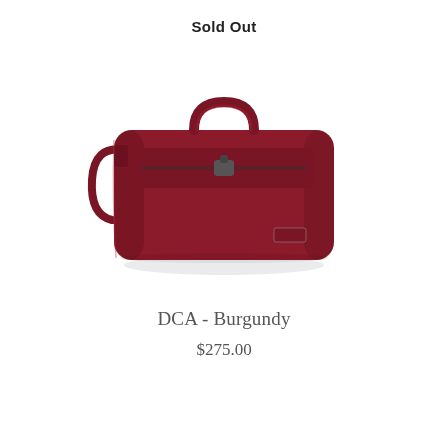Sold Out
[Figure (photo): A burgundy/dark red leather briefcase bag with top handle, shoulder strap, and front zipper pocket, photographed on a white background.]
DCA - Burgundy
$275.00